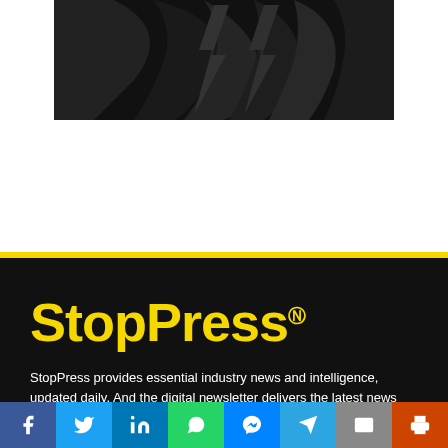[Figure (photo): Dark abstract image with black swooping shapes on dark background, positioned in upper center of page]
[Figure (logo): StopPress NZ logo in bold yellow text on black background]
StopPress provides essential industry news and intelligence, updated daily. And the digital newsletter delivers the latest news
[Figure (infographic): Social media share bar with buttons: Facebook, Twitter, LinkedIn, WhatsApp, Messenger, Telegram, Email, Print]